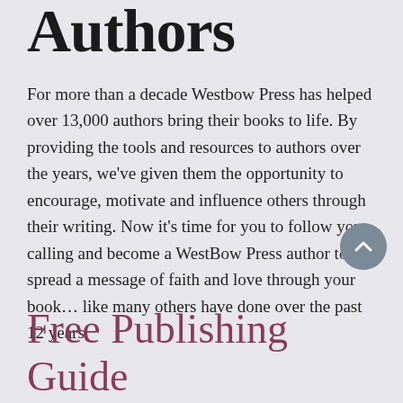Authors
For more than a decade Westbow Press has helped over 13,000 authors bring their books to life. By providing the tools and resources to authors over the years, we’ve given them the opportunity to encourage, motivate and influence others through their writing. Now it’s time for you to follow your calling and become a WestBow Press author to spread a message of faith and love through your book… like many others have done over the past 12 years.
Free Publishing Guide